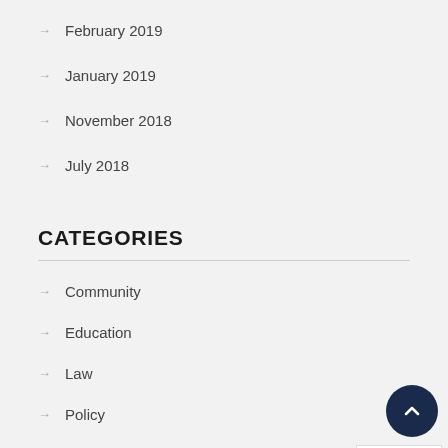→ February 2019
→ January 2019
→ November 2018
→ July 2018
CATEGORIES
→ Community
→ Education
→ Law
→ Policy
→ Political